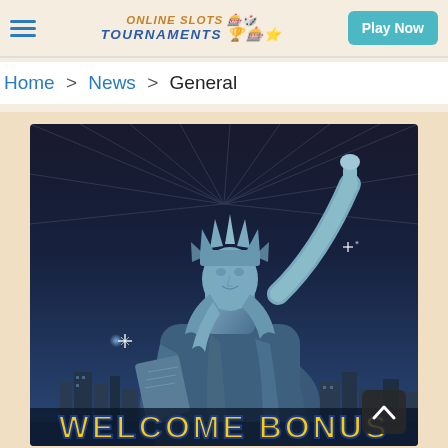Online Slots Tournaments | Play Now
Home > News > General
[Figure (photo): Promotional image featuring the Statue of Liberty against a blue skyline background with text 'WELCOME BONUS' at the bottom in bold gold/blue letters]